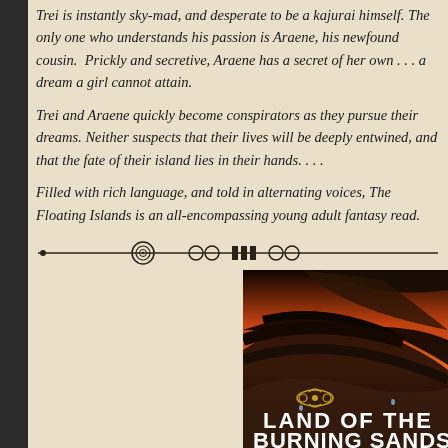Trei is instantly sky-mad, and desperate to be a kajurai himself. The only one who understands his passion is Araene, his newfound cousin. Prickly and secretive, Araene has a secret of her own . . . a dream a girl cannot attain.
Trei and Araene quickly become conspirators as they pursue their dreams. Neither suspects that their lives will be deeply entwined, and that the fate of their island lies in their hands. . . .
Filled with rich language, and told in alternating voices, The Floating Islands is an all-encompassing young adult fantasy read.
[Figure (illustration): Decorative horizontal divider with spiral and geometric ornamental elements on a tan background]
[Figure (photo): Book cover for 'Land of the Burning Sands' showing dramatic desert landscape with orange sky and dark rocky formations, with ornate gold decorative elements and bold white title text]